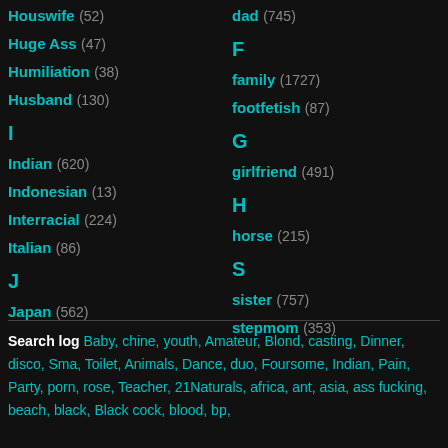Houswife (52)
Huge Ass (47)
Humiliation (38)
Husband (130)
I
Indian (620)
Indonesian (13)
Interracial (224)
Italian (86)
J
Japan (562)
dad (745)
F
family (1727)
footfetish (87)
G
girlfriend (491)
H
horse (215)
S
sister (757)
stepmom (353)
Search log  Baby, chine, youth, Amateur, Blond, casting, Dinner, disco, Sma, Toilet, Animals, Dance, duo, Foursome, Indian, Pain, Party, porn, rose, Teacher, 21Naturals, africa, ant, asia, ass fucking, beach, black, Black cock, blood, bp,